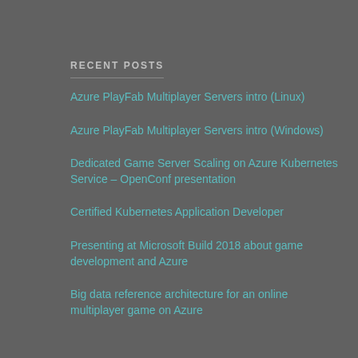RECENT POSTS
Azure PlayFab Multiplayer Servers intro (Linux)
Azure PlayFab Multiplayer Servers intro (Windows)
Dedicated Game Server Scaling on Azure Kubernetes Service – OpenConf presentation
Certified Kubernetes Application Developer
Presenting at Microsoft Build 2018 about game development and Azure
Big data reference architecture for an online multiplayer game on Azure